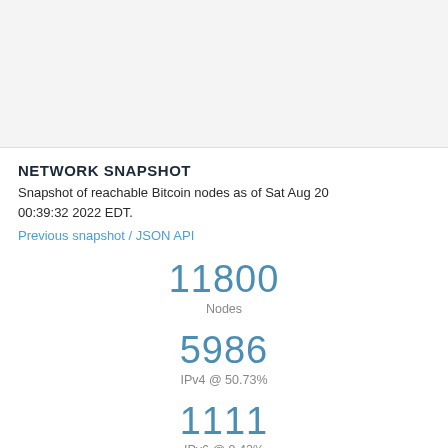[Figure (other): Light gray placeholder image area at top of page]
NETWORK SNAPSHOT
Snapshot of reachable Bitcoin nodes as of Sat Aug 20 00:39:32 2022 EDT.
Previous snapshot / JSON API
11800
Nodes
5986
IPv4 @ 50.73%
1111
IPv6 @ 9.42%
4703 (partial, cut off)